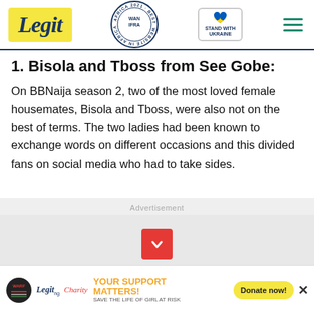Legit — WAN IFRA 2021 Best News Website in Africa — Stand With Ukraine
1. Bisola and Tboss from See Gobe:
On BBNaija season 2, two of the most loved female housemates, Bisola and Tboss, were also not on the best of terms. The two ladies had been known to exchange words on different occasions and this divided fans on social media who had to take sides.
Advertisement
[Figure (other): Red scroll-down button with chevron icon]
[Figure (other): Legit Charity banner ad: YOUR SUPPORT MATTERS! SAVE THE LIFE OF GIRL AT RISK — Donate now! button]